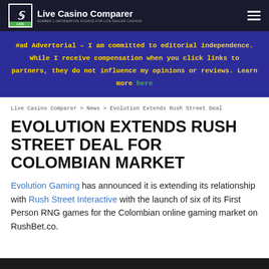Live Casino Comparer — NUMBER 1 INFORMATION SOURCE FOR LIVE DEALER CASINOS
#ad Advertorial – I am committed to editorial independence. While I receive compensation when you click links to partners, they do not influence my opinions or reviews. Learn more here
Live Casino Comparer > News > Evolution Extends Rush Street Deal
EVOLUTION EXTENDS RUSH STREET DEAL FOR COLOMBIAN MARKET
Evolution Gaming has announced it is extending its relationship with Rush Street Interactive with the launch of six of its First Person RNG games for the Colombian online gaming market on RushBet.co.